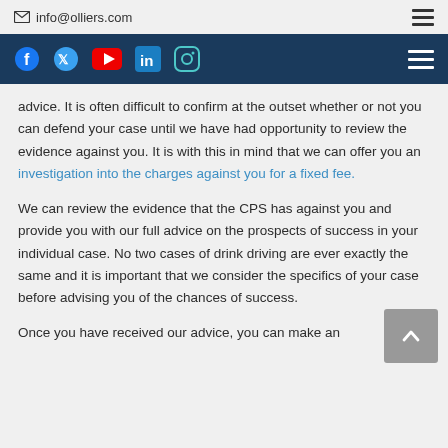info@olliers.com
advice. It is often difficult to confirm at the outset whether or not you can defend your case until we have had opportunity to review the evidence against you. It is with this in mind that we can offer you an investigation into the charges against you for a fixed fee.
We can review the evidence that the CPS has against you and provide you with our full advice on the prospects of success in your individual case. No two cases of drink driving are ever exactly the same and it is important that we consider the specifics of your case before advising you of the chances of success.
Once you have received our advice, you can make an